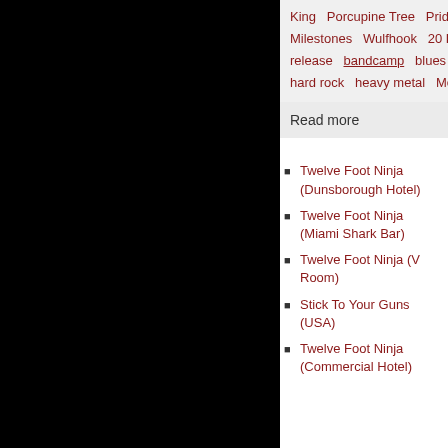King    Porcupine Tree    Pridelands    QOTSA    Queens Of The    Milestones    Wulfhook    20 Buck Spin    Divebomb Records    release    bandcamp    blues metal    blues rock    death core    hard rock    heavy metal    Metal Core    pd24/07/15    power m
Read more
Twelve Foot Ninja (Dunsborough Hotel)
Twelve Foot Ninja (Miami Shark Bar)
Twelve Foot Ninja (V Room)
Stick To Your Guns (USA)
Twelve Foot Ninja (Commercial Hotel)